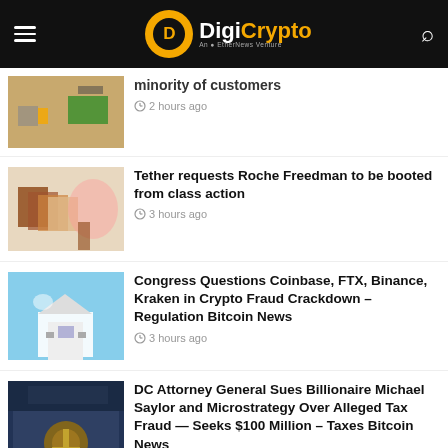DigiCrypto — An EtherNews Venture
minority of customers — 2 hours ago
Tether requests Roche Freedman to be booted from class action — 3 hours ago
Congress Questions Coinbase, FTX, Binance, Kraken in Crypto Fraud Crackdown – Regulation Bitcoin News — 3 hours ago
DC Attorney General Sues Billionaire Michael Saylor and Microstrategy Over Alleged Tax Fraud — Seeks $100 Million – Taxes Bitcoin News — 5 hours ago